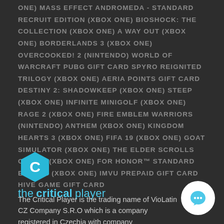ONE) MASS EFFECT ANDROMEDA - STANDARD RECRUIT EDITION (XBOX ONE) BIOSHOCK: THE COLLECTION (XBOX ONE) A WAY OUT (XBOX ONE) BORDERLANDS 3 (XBOX ONE) OVERCOOKED! 2 (NINTENDO) WORLD OF WARCRAFT PUBG GIFT CARD SPYRO REIGNITED TRILOGY (XBOX ONE) AERIA POINTS GIFT CARD DESTINY 2: SHADOWKEEP (XBOX ONE) STEEP (XBOX ONE) INFINITE MINIGOLF (XBOX ONE) RAGE 2 (XBOX ONE) FIRE EMBLEM WARRIORS (NINTENDO) ANTHEM (XBOX ONE) KINGDOM HEARTS 3 (XBOX ONE) FIFA 19 (XBOX ONE) GOAT SIMULATOR (XBOX ONE) THE ELDER SCROLLS ONLINE (XBOX ONE) FOR HONOR™ STANDARD EDITION (XBOX ONE) IMVU PREPAID GIFT CARD HIVE GAME GIFT CARD
[Figure (logo): The Critical Player logo: a cyan hexagon with a white 'C' inside, followed by the text 'the critical player' in cyan with 'critical' in bold]
The Critical Player is the trading name of VioLatin CZ Comp... S.R.O which is a company registered in Czechia with company...